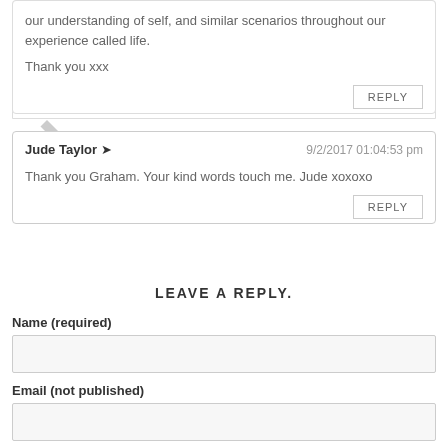our understanding of self, and similar scenarios throughout our experience called life.

Thank you xxx
Jude Taylor ➜  9/2/2017 01:04:53 pm
Thank you Graham. Your kind words touch me. Jude xoxoxo
LEAVE A REPLY.
Name (required)
Email (not published)
Website